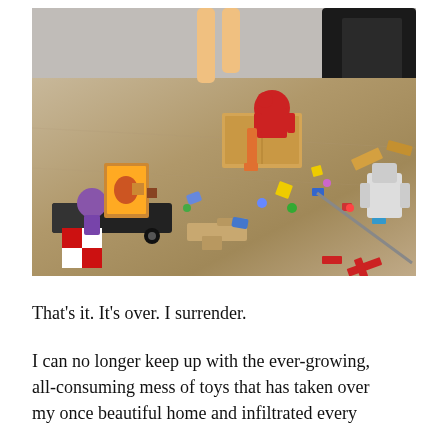[Figure (photo): A messy living room floor covered with scattered toys including action figures, toy vehicles, a toy gun, building blocks, figurines, colorful puzzle pieces, and a cardboard box. A child's legs are visible walking in the background.]
That's it. It's over. I surrender.
I can no longer keep up with the ever-growing, all-consuming mess of toys that has taken over my once beautiful home and infiltrated every